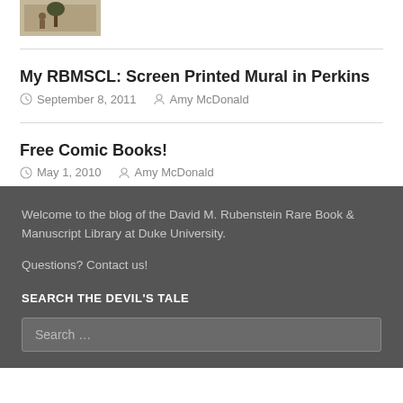[Figure (photo): Partial view of a historical photograph showing a figure near a tree, sepia-toned]
My RBMSCL: Screen Printed Mural in Perkins
September 8, 2011   Amy McDonald
Free Comic Books!
May 1, 2010   Amy McDonald
Welcome to the blog of the David M. Rubenstein Rare Book & Manuscript Library at Duke University.
Questions? Contact us!
SEARCH THE DEVIL'S TALE
Search …